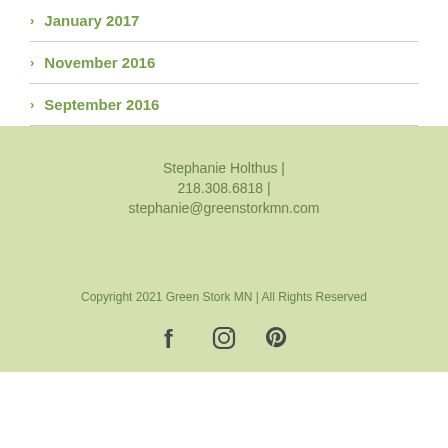January 2017
November 2016
September 2016
Stephanie Holthus | 218.308.6818 | stephanie@greenstorkmn.com
Copyright 2021 Green Stork MN | All Rights Reserved
[Figure (other): Social media icons: Facebook, Instagram, Pinterest]